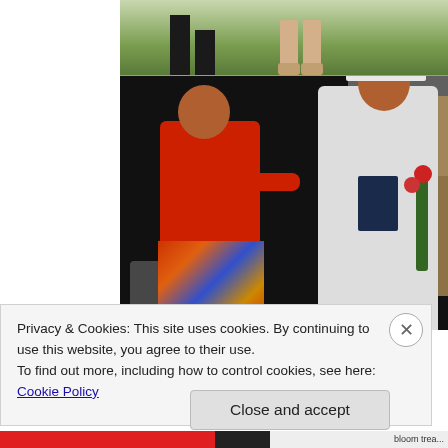[Figure (photo): Top portion: a photo showing feet and ground vegetation from above. Bottom portion: a graduation photo with a woman in a red outfit and a graduate in white cap and gown holding flowers and a diploma, posing outdoors.]
Privacy & Cookies: This site uses cookies. By continuing to use this website, you agree to their use.
To find out more, including how to control cookies, see here: Cookie Policy
Close and accept